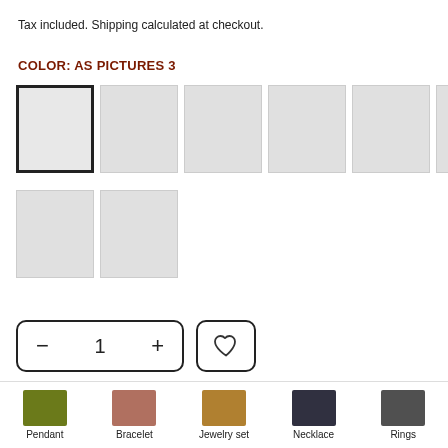Tax included. Shipping calculated at checkout.
COLOR: AS PICTURES 3
[Figure (other): Color swatch selector grid with 10 image placeholder squares. First swatch is selected (dark border). Two rows: 8 swatches on first row, 2 on second row.]
[Figure (other): Quantity selector showing minus button, 1, plus button in rounded rectangle border, and a heart/wishlist button beside it.]
[Figure (other): ADD TO CART button in dark red/maroon color]
[Figure (other): BUY IT NOW button in golden/khaki color, partially visible]
[Figure (other): Back to top button with upward chevron]
Pendant   Bracelet   Jewelry set   Necklace   Rings